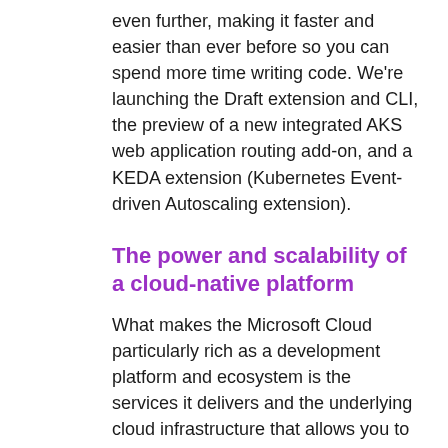even further, making it faster and easier than ever before so you can spend more time writing code. We're launching the Draft extension and CLI, the preview of a new integrated AKS web application routing add-on, and a KEDA extension (Kubernetes Event-driven Autoscaling extension).
The power and scalability of a cloud-native platform
What makes the Microsoft Cloud particularly rich as a development platform and ecosystem is the services it delivers and the underlying cloud infrastructure that allows you to focus on writing and shipping code. You can build upon and leverage a complete cloud-native platform, from containers to cloud-native databases and AI services.